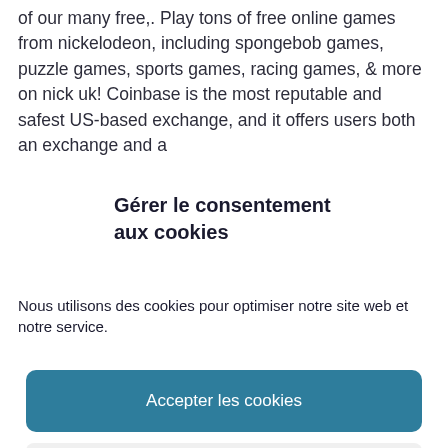of our many free,. Play tons of free online games from nickelodeon, including spongebob games, puzzle games, sports games, racing games, & more on nick uk! Coinbase is the most reputable and safest US-based exchange, and it offers users both an exchange and a
Gérer le consentement aux cookies
Nous utilisons des cookies pour optimiser notre site web et notre service.
Accepter les cookies
Refuser
Voir les préférences